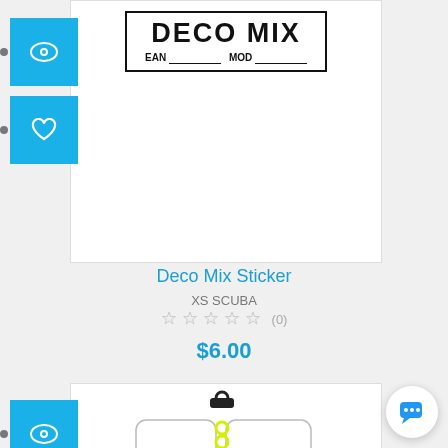[Figure (photo): Deco Mix Sticker product label showing bold text DECO MIX with EAN and MOD fields]
Deco Mix Sticker
XS SCUBA
(0)
$6.00
[Figure (photo): Underwater writing slate/notepad product with yellow spiral binding, black clip, and yellow pencil attached]